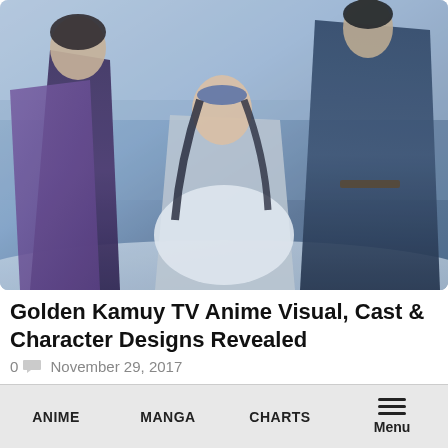[Figure (illustration): Anime key visual for Golden Kamuy TV anime showing three characters: a man in purple/dark clothing on the left, a young woman with decorative headband in the center wearing white fur, and a figure in dark blue clothing on the right. Background is a blue-toned snowy/wintry scene.]
Golden Kamuy TV Anime Visual, Cast & Character Designs Revealed
0  November 29, 2017
The official website of the anime adaptation of Satoru Noda's Golden Kamuy manga has released a brand new visual for the...
ANIME   MANGA   CHARTS   Menu